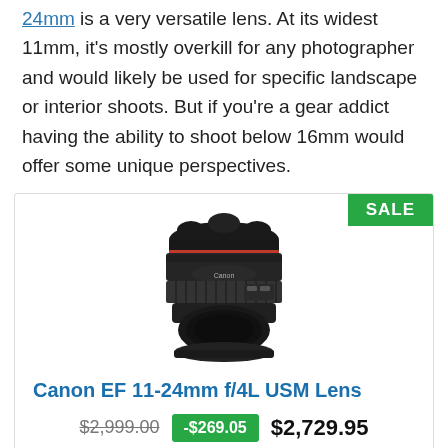24mm is a very versatile lens. At its widest 11mm, it's mostly overkill for any photographer and would likely be used for specific landscape or interior shoots. But if you're a gear addict having the ability to shoot below 16mm would offer some unique perspectives.
[Figure (photo): Photo of Canon EF 11-24mm f/4L USM camera lens, a black wide-angle zoom lens with petal-shaped lens hood, shown against white background. A green SALE badge appears in the top-right corner of the product card.]
Canon EF 11-24mm f/4L USM Lens
$2,999.00  -$269.05  $2,729.95
View on Amazon